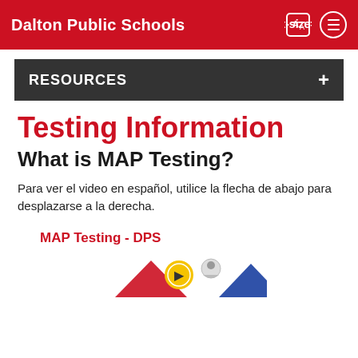Dalton Public Schools
RESOURCES
Testing Information
What is MAP Testing?
Para ver el video en español, utilice la flecha de abajo para desplazarse a la derecha.
MAP Testing - DPS
[Figure (screenshot): Partial video thumbnail for MAP Testing - DPS showing colorful triangular shapes at the bottom of the page]